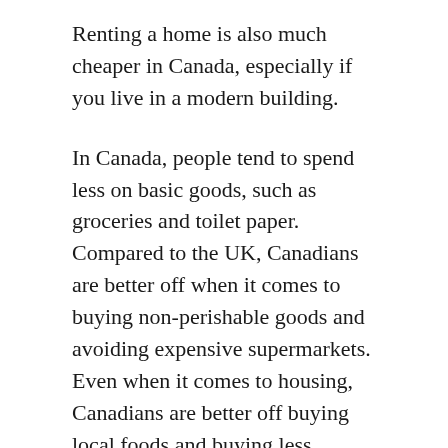Renting a home is also much cheaper in Canada, especially if you live in a modern building.
In Canada, people tend to spend less on basic goods, such as groceries and toilet paper. Compared to the UK, Canadians are better off when it comes to buying non-perishable goods and avoiding expensive supermarkets. Even when it comes to housing, Canadians are better off buying local foods and buying less perishable items. Expendable income in Canada is higher than in the UK, but it depends on your job and location.